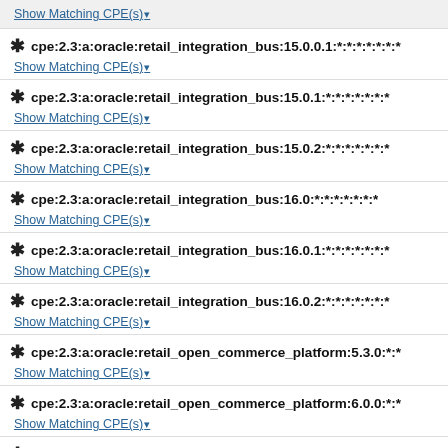Show Matching CPE(s)
cpe:2.3:a:oracle:retail_integration_bus:15.0.0.1:*:*:*:*:*:*:*
Show Matching CPE(s)
cpe:2.3:a:oracle:retail_integration_bus:15.0.1:*:*:*:*:*:*:*
Show Matching CPE(s)
cpe:2.3:a:oracle:retail_integration_bus:15.0.2:*:*:*:*:*:*:*
Show Matching CPE(s)
cpe:2.3:a:oracle:retail_integration_bus:16.0:*:*:*:*:*:*
Show Matching CPE(s)
cpe:2.3:a:oracle:retail_integration_bus:16.0.1:*:*:*:*:*:*:*
Show Matching CPE(s)
cpe:2.3:a:oracle:retail_integration_bus:16.0.2:*:*:*:*:*:*:*
Show Matching CPE(s)
cpe:2.3:a:oracle:retail_open_commerce_platform:5.3.0:*:*
Show Matching CPE(s)
cpe:2.3:a:oracle:retail_open_commerce_platform:6.0.0:*:*
Show Matching CPE(s)
cpe:2.3:a:oracle:retail_open_commerce_platform:6.0.1:*:*